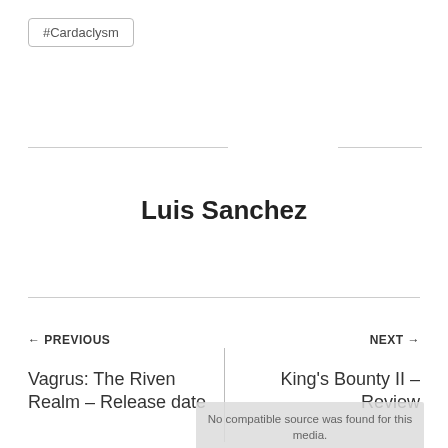#Cardaclysm
Luis Sanchez
← PREVIOUS
NEXT →
Vagrus: The Riven Realm – Release date
King's Bounty II – Review
No compatible source was found for this media.